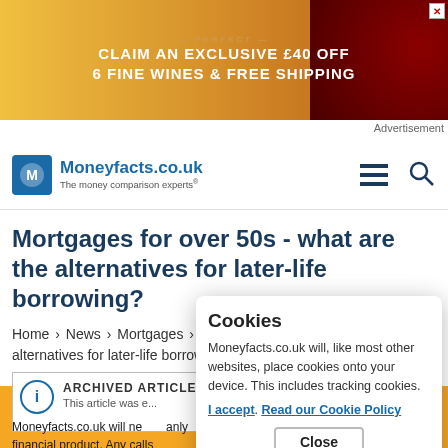[Figure (screenshot): Advertisement banner: CLAIM AN EXCLUSIVE £40 OFF 6 FINE WINES & FREE SHIPPING with wine bottle image]
Advertisement
[Figure (logo): Moneyfacts.co.uk logo with tagline 'The money comparison experts']
Mortgages for over 50s - what are the alternatives for later-life borrowing?
Home > News > Mortgages > Mortgages for over 50s - what are the alternatives for later-life borrowing?
ARCHIVED ARTICLE
Cookies
Moneyfacts.co.uk will, like most other websites, place cookies onto your device. This includes tracking cookies.
I accept. Read our Cookie Policy
Close